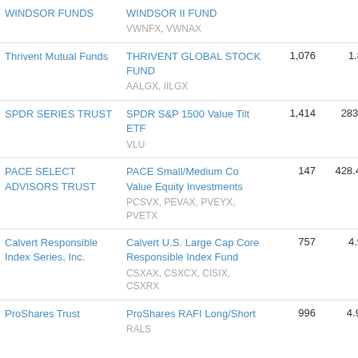| Company | Fund | Holdings | AUM | Volume |  |
| --- | --- | --- | --- | --- | --- |
| WINDSOR FUNDS | WINDSOR II FUND
VWNFX, VWNAX |  |  |  |  |
| Thrivent Mutual Funds | THRIVENT GLOBAL STOCK FUND
AALGX, IILGX | 1,076 | 1.89B | 4.67M | 0 |
| SPDR SERIES TRUST | SPDR S&P 1500 Value Tilt ETF
VLU | 1,414 | 283.5M | 700.42K | 0 |
| PACE SELECT ADVISORS TRUST | PACE Small/Medium Co Value Equity Investments
PCSVX, PEVAX, PVEYX, PVETX | 147 | 428.43M | 1.04M | 0 |
| Calvert Responsible Index Series, Inc. | Calvert U.S. Large Cap Core Responsible Index Fund
CSXAX, CSXCX, CISIX, CSXRX | 757 | 4.91B | 12.05M | 0 |
| ProShares Trust | ProShares RAFI Long/Short
RALS | 996 | 4.92M | 11.88K | 0 |